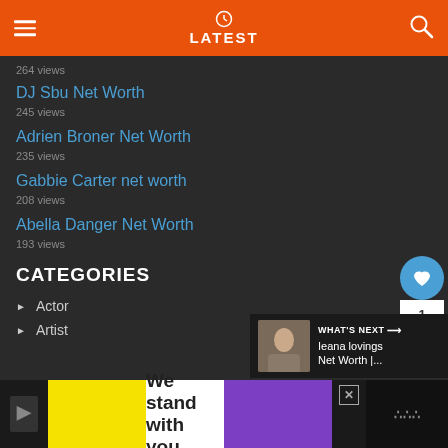LATEST
264 views
DJ Sbu Net Worth
245 views
Adrien Broner Net Worth
235 views
Gabbie Carter net worth
208 views
Abella Danger Net Worth
193 views
CATEGORIES
Actor
Artist
[Figure (screenshot): What's Next panel showing Ieana lovings Net Worth article thumbnail]
[Figure (infographic): Bottom advertisement banner: We stand with you. with yellow, white, and purple segments]